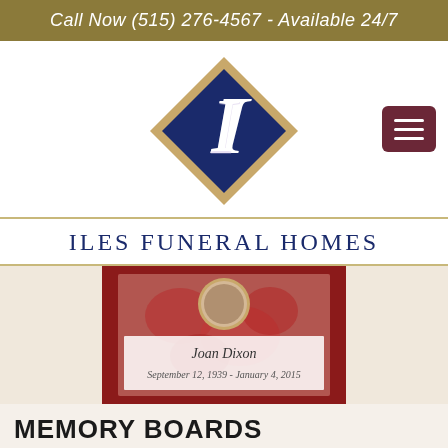Call Now (515) 276-4567 - Available 24/7
[Figure (logo): Iles Funeral Homes logo: a diamond shape with outer tan border and inner navy blue square, containing a decorative script letter I in white]
ILES FUNERAL HOMES
[Figure (photo): A memorial memory board display showing a framed photo arrangement with red roses background. Text on the board reads: Joan Dixon, September 12, 1939 - January 4, 2015]
MEMORY BOARDS
We provide foam backed memory boards for your family to create a collage of photographs. You can